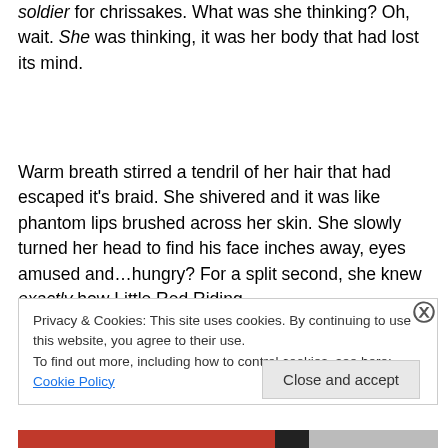soldier for chrissakes. What was she thinking? Oh, wait. She was thinking, it was her body that had lost its mind.
Warm breath stirred a tendril of her hair that had escaped it's braid. She shivered and it was like phantom lips brushed across her skin. She slowly turned her head to find his face inches away, eyes amused and…hungry? For a split second, she knew exactly how Little Red Riding
Privacy & Cookies: This site uses cookies. By continuing to use this website, you agree to their use.
To find out more, including how to control cookies, see here: Cookie Policy